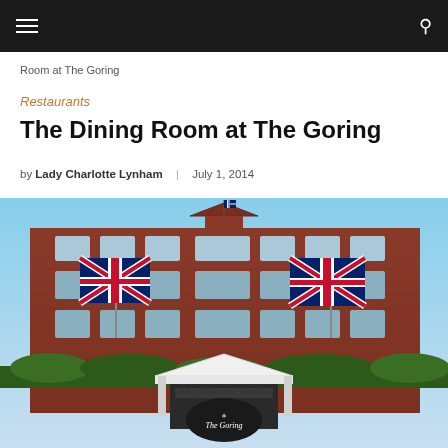Navigation bar with menu and search icons
Room at The Goring
Restaurants
The Dining Room at The Goring
by Lady Charlotte Lynham | July 1, 2014
[Figure (photo): Exterior of The Goring Hotel, a red brick building with two Union Jack flags flanking the entrance. White canopy entrance with 'THE GORING HOTEL' text and The Goring roundel sign below.]